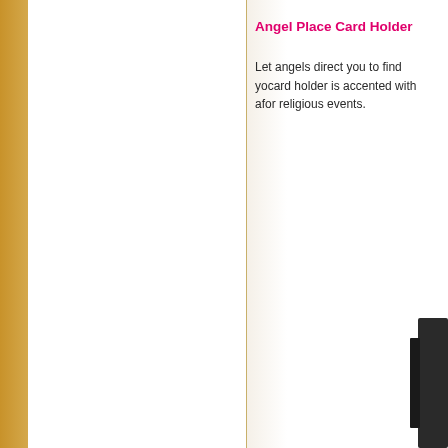Angel Place Card Holder
Let angels direct you to find your seat! This place card holder is accented with an angel design and is perfect for religious events.
[Figure (photo): Partial view of an angel place card holder product, showing the right edge of the item at bottom right of the page]